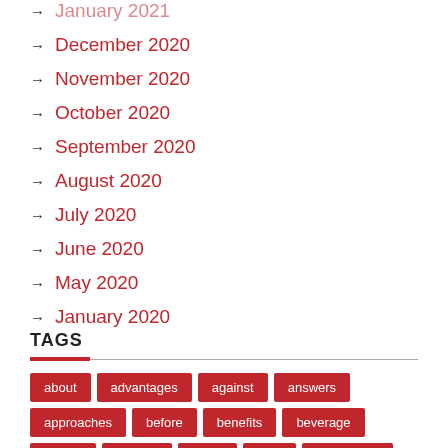January 2021
December 2020
November 2020
October 2020
September 2020
August 2020
July 2020
June 2020
May 2020
January 2020
TAGS
about advantages against answers approaches before benefits beverage buying choose could dirty discovered